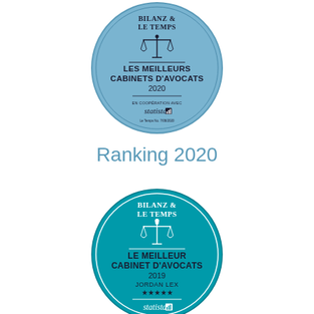[Figure (logo): Bilanz & Le Temps - Les Meilleurs Cabinets d'Avocats 2020 badge (light blue circle) with scales of justice icon, text LES MEILLEURS CABINETS D'AVOCATS 2020, en coopération avec statista]
Ranking 2020
[Figure (logo): Bilanz & Le Temps - Le Meilleur Cabinet d'Avocats 2019 badge (teal circle) with scales of justice icon, text LE MEILLEUR CABINET D'AVOCATS 2019 JORDAN LEX five stars, statista]